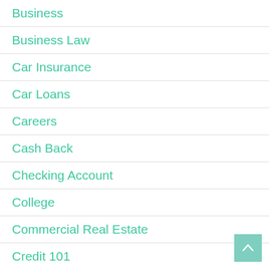Business
Business Law
Car Insurance
Car Loans
Careers
Cash Back
Checking Account
College
Commercial Real Estate
Credit 101
Credit Card News
Credit Cards
Credit Repair